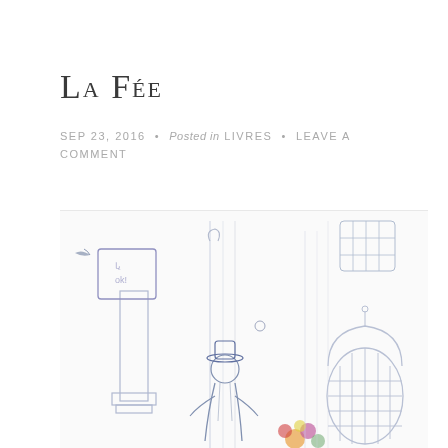La Fée
SEP 23, 2016 • Posted in LIVRES • LEAVE A COMMENT
[Figure (illustration): Watercolor and pencil sketch illustration showing whimsical figures including a person wearing a hat, a birdcage, decorative column, and various tall thin objects on a white background]